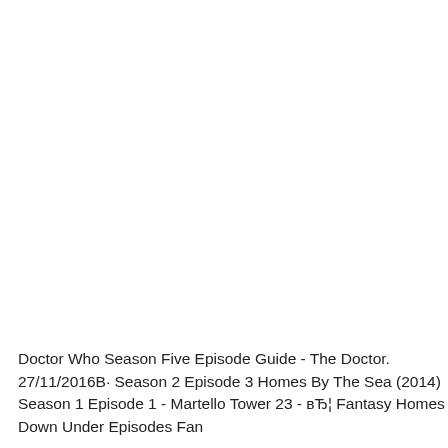Doctor Who Season Five Episode Guide - The Doctor. 27/11/2016В· Season 2 Episode 3 Homes By The Sea (2014) Season 1 Episode 1 - Martello Tower 23 - вЂ¦ Fantasy Homes Down Under Episodes Fan